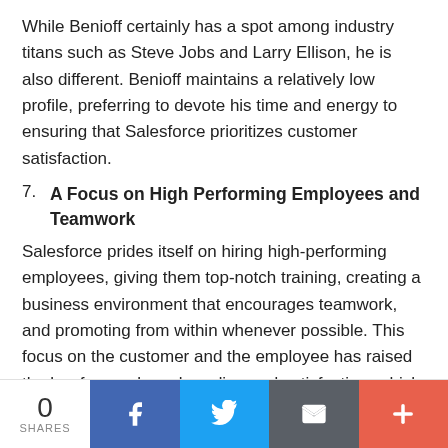While Benioff certainly has a spot among industry titans such as Steve Jobs and Larry Ellison, he is also different. Benioff maintains a relatively low profile, preferring to devote his time and energy to ensuring that Salesforce prioritizes customer satisfaction.
7. A Focus on High Performing Employees and Teamwork
Salesforce prides itself on hiring high-performing employees, giving them top-notch training, creating a business environment that encourages teamwork, and promoting from within whenever possible. This focus on the customer and the employee has raised the bar for employer branding and satisfaction, which helps pad the long-term investment
0 SHARES | Facebook | Twitter | Email | More